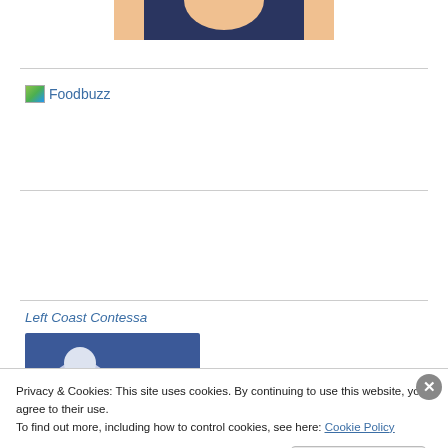[Figure (photo): Partial view of a person wearing a dark blue top, cropped at top of page]
[Figure (logo): Foodbuzz logo link with small image icon and blue text 'Foodbuzz']
Left Coast Contessa
[Figure (photo): Facebook-style profile image thumbnail with blue background]
Privacy & Cookies: This site uses cookies. By continuing to use this website, you agree to their use.
To find out more, including how to control cookies, see here: Cookie Policy
Close and accept